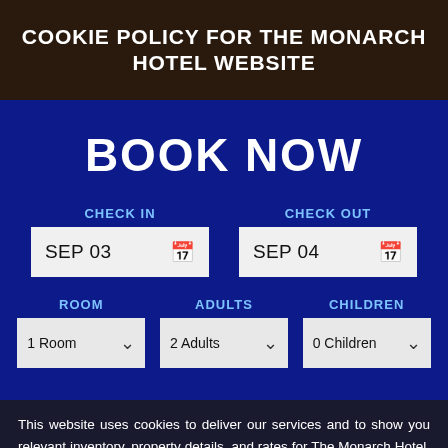COOKIE POLICY FOR THE MONARCH HOTEL WEBSITE
BOOK NOW
CHECK IN
SEP 03
CHECK OUT
SEP 04
ROOM
1 Room
ADULTS
2 Adults
CHILDREN
0 Children
This website uses cookies to deliver our services and to show you relevant inventory, property details, and rates for The Monarch Hotel. By using our website, you acknowledge that you have read and understand our Cookie Policy, Privacy Policy, and our Terms of Service. This website uses cookies to ensure that you get the best